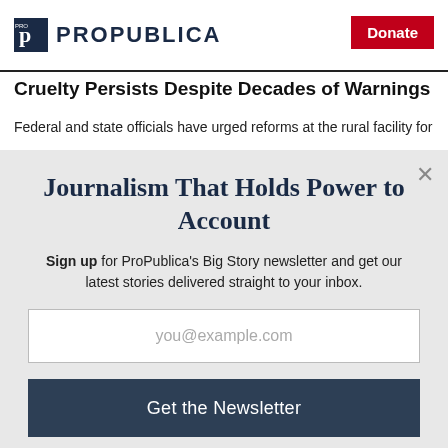ProPublica | Donate
Cruelty Persists Despite Decades of Warnings
Federal and state officials have urged reforms at the rural facility for
Journalism That Holds Power to Account
Sign up for ProPublica's Big Story newsletter and get our latest stories delivered straight to your inbox.
you@example.com
Get the Newsletter
No thanks, I'm all set
This site is protected by reCAPTCHA and the Google Privacy Policy and Terms of Service apply.